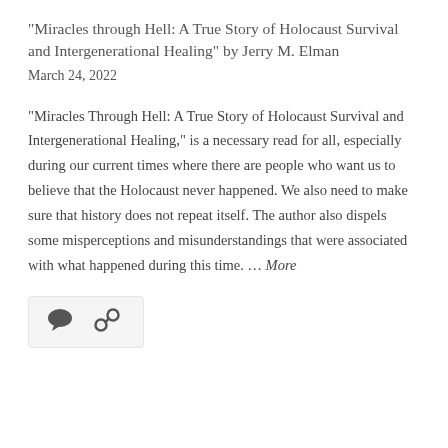“Miracles through Hell: A True Story of Holocaust Survival and Intergenerational Healing” by Jerry M. Elman
March 24, 2022
“Miracles Through Hell: A True Story of Holocaust Survival and Intergenerational Healing,” is a necessary read for all, especially during our current times where there are people who want us to believe that the Holocaust never happened. We also need to make sure that history does not repeat itself. The author also dispels some misperceptions and misunderstandings that were associated with what happened during this time. … More
[Figure (other): Two small icons: a speech bubble (comment) icon and a chain link (share/permalink) icon, inside a light grey rounded rectangle bar.]